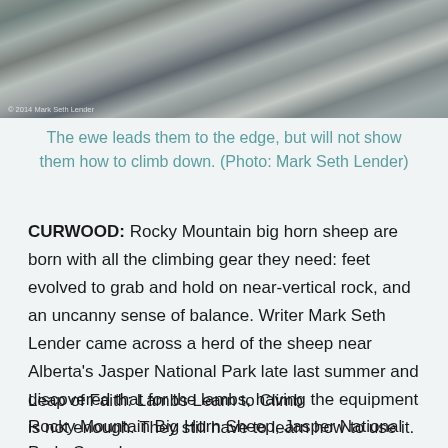[Figure (photo): Close-up photo of rocky cliff face with bighorn sheep, watermark '© 2014 Mark Seth Lender']
The ewe leads them to the edge, but will not show them how to climb down. (Photo: Mark Seth Lender)
CURWOOD: Rocky Mountain big horn sheep are born with all the climbing gear they need: feet evolved to grab and hold on near-vertical rock, and an uncanny sense of balance. Writer Mark Seth Lender came across a herd of the sheep near Alberta's Jasper National Park late last summer and discovered that for the lambs, having the equipment is not enough. They still have to learn how to use it.
Leap of Faith: Lambs Learn to Climb
Rocky Mountain Big Horn Sheep, Jasper National Park, Canada